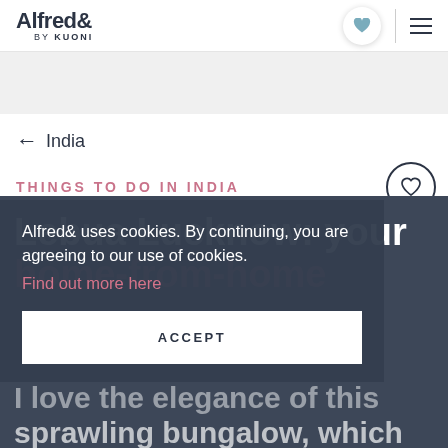Alfred& by KUONI
[Figure (screenshot): Alfred& by Kuoni website screenshot showing navigation header with logo, heart icon button, divider, and hamburger menu]
← India
THINGS TO DO IN INDIA
Lebua Lucknow: your home-from-home
Alfred& uses cookies. By continuing, you are agreeing to our use of cookies. Find out more here
ACCEPT
I love the elegance of this sprawling bungalow, which was